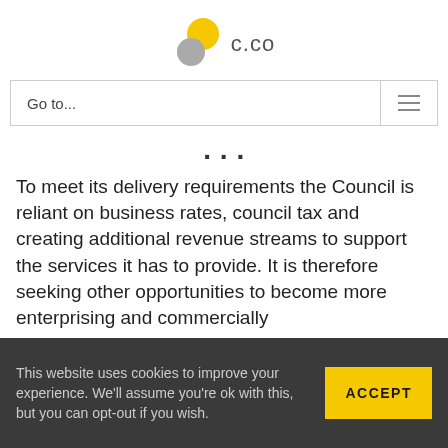[Figure (logo): c.co logo with yellow and grey overlapping circles and the text 'c.co']
Go to...
...p...
To meet its delivery requirements the Council is reliant on business rates, council tax and creating additional revenue streams to support the services it has to provide. It is therefore seeking other opportunities to become more enterprising and commercially
This website uses cookies to improve your experience. We'll assume you're ok with this, but you can opt-out if you wish.